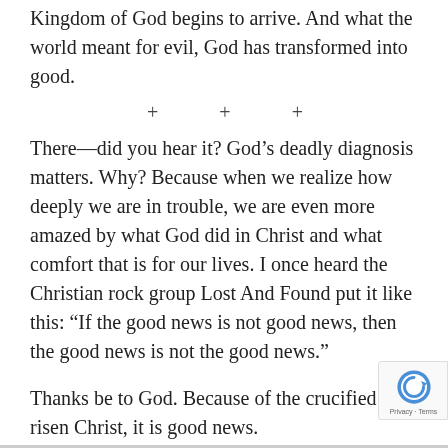Kingdom of God begins to arrive. And what the world meant for evil, God has transformed into good.
+ + +
There—did you hear it? God's deadly diagnosis matters. Why? Because when we realize how deeply we are in trouble, we are even more amazed by what God did in Christ and what comfort that is for our lives. I once heard the Christian rock group Lost And Found put it like this: “If the good news is not good news, then the good news is not the good news.”
Thanks be to God. Because of the crucified and risen Christ, it is good news.